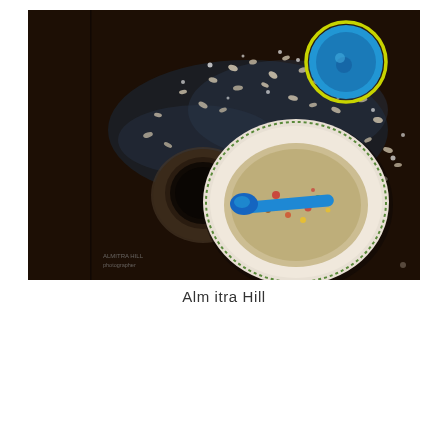[Figure (photo): Overhead/top-down food photography shot on a dark brown background. Shows a white ceramic bowl with floral pattern containing what appears to be a salad or grain dish with a blue spoon inside. A small round dark ramekin or sauce cup sits to the left of the bowl. In the upper right corner is a small bright blue round bowl or cup. Scattered around are what appear to be oats, grains, or cereal pieces. There is a liquid splash pattern visible across the dark surface. A small watermark/credit text is visible in the lower left of the photo.]
Alm itra Hill